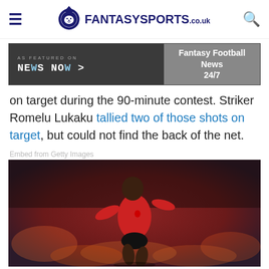FantasySports.co.uk navigation bar with hamburger menu and search icon
[Figure (screenshot): News Now advertisement banner: AS FEATURED ON NEWS NOW > | Fantasy Football News 24/7]
on target during the 90-minute contest. Striker Romelu Lukaku tallied two of those shots on target, but could not find the back of the net.
Embed from Getty Images
[Figure (photo): Romelu Lukaku in Manchester United red kit running during a match, blurred crowd in background]